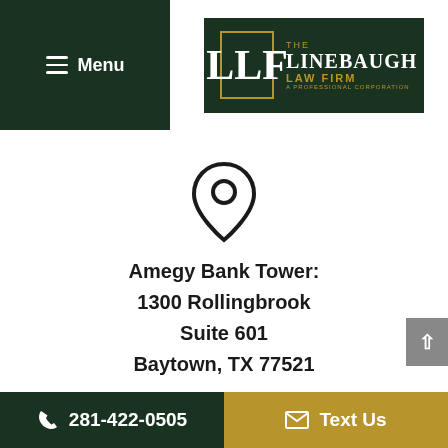Menu
[Figure (logo): The Linebaugh Law Firm logo — dark green background with LLF monogram and firm name in gold and white]
[Figure (illustration): Location pin icon (map marker outline)]
Amegy Bank Tower:
1300 Rollingbrook
Suite 601
Baytown, TX 77521
BAYTOWN LAW OFFICE
281-422-0505  Text Us